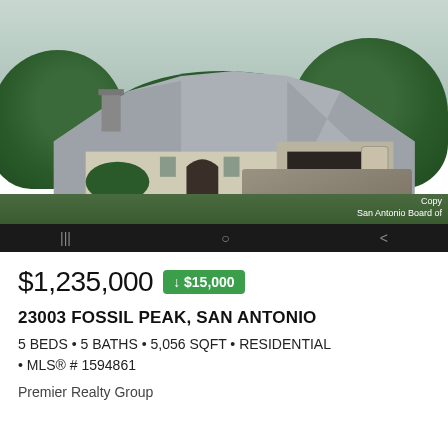[Figure (photo): Aerial/elevated view of a large two-story stone and stucco residential home with metal roof, surrounded by trees, with a circular driveway, in San Antonio, TX. Navigation bar visible at bottom with watermark text.]
$1,235,000 ↓ $15,000
23003 FOSSIL PEAK, SAN ANTONIO
5 BEDS • 5 BATHS • 5,056 SQFT • RESIDENTIAL • MLS® # 1594861
Premier Realty Group